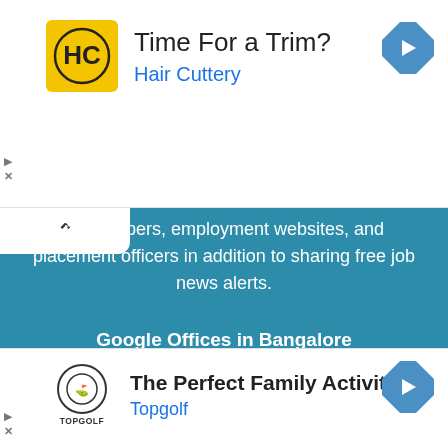[Figure (other): Hair Cuttery advertisement banner with logo, headline 'Time For a Trim?', brand name 'Hair Cuttery', and navigation arrow icon]
newspapers, employment websites, and placement officers in addition to sharing free job news alerts.
Google Offices in Bangalore
Off Campus Drive For 2022 Batch
Off Campus Drive For 2021 Batch
[Figure (other): Topgolf advertisement banner with logo, headline 'The Perfect Family Activity', brand name 'Topgolf', and navigation arrow icon]